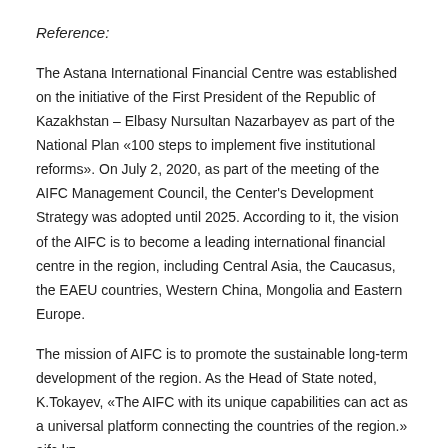Reference:
The Astana International Financial Centre was established on the initiative of the First President of the Republic of Kazakhstan – Elbasy Nursultan Nazarbayev as part of the National Plan «100 steps to implement five institutional reforms». On July 2, 2020, as part of the meeting of the AIFC Management Council, the Center's Development Strategy was adopted until 2025. According to it, the vision of the AIFC is to become a leading international financial centre in the region, including Central Asia, the Caucasus, the EAEU countries, Western China, Mongolia and Eastern Europe.
The mission of AIFC is to promote the sustainable long-term development of the region. As the Head of State noted, K.Tokayev, «The AIFC with its unique capabilities can act as a universal platform connecting the countries of the region.» aifc.kz
The AIFC Court is an independent legal entity. It has its own